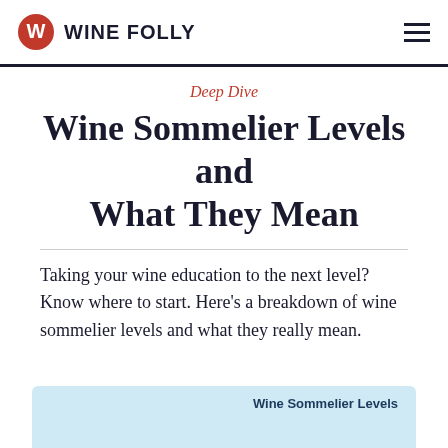WINE FOLLY
Deep Dive
Wine Sommelier Levels and What They Mean
Taking your wine education to the next level? Know where to start. Here's a breakdown of wine sommelier levels and what they really mean.
[Figure (infographic): Partial infographic preview showing 'Wine Sommelier Levels' text on a light blue background with illustrated figures]